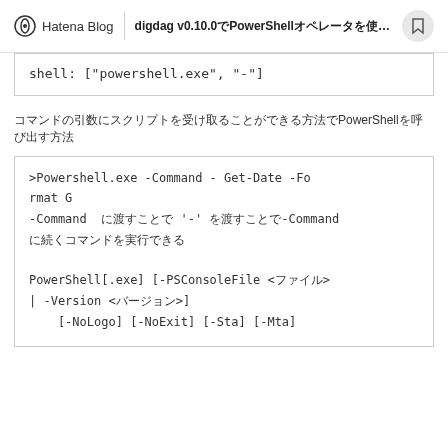Hatena Blog | digdag v0.10.0でPowerShellオペレータを使えるようにした...
shell: ["powershell.exe", "-"]
コマンドの引数にスクリプトを受け取ることができる方法でPowerShellを呼び出す方法
>Powershell.exe -Command - Get-Date -Format G
-Command にパイプ '-' を渡すことで-Command
に続くコマンドを実行できる

PowerShell[.exe] [-PSConsoleFile <ファイル> | -Version <バージョン>]
    [-NoLogo] [-NoExit] [-Sta] [-Mta]